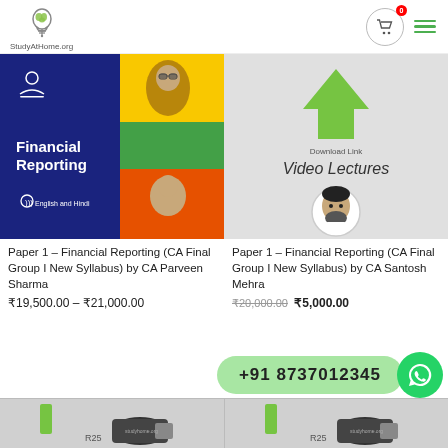[Figure (logo): StudyAtHome.org logo with lightbulb icon]
[Figure (screenshot): Shopping cart icon with 0 badge and hamburger menu in green]
[Figure (photo): Financial Reporting course card with man in glasses on blue/yellow/green/orange background]
[Figure (photo): Video Lectures download link card with instructor portrait in circle]
Paper 1 – Financial Reporting (CA Final Group I New Syllabus) by CA Parveen Sharma
₹19,500.00 – ₹21,000.00
Paper 1 – Financial Reporting (CA Final Group I New Syllabus) by CA Santosh Mehra
₹20,000.00 ₹5,000.00
+91 8737012345
[Figure (photo): Bottom product images partially visible showing USB drives and green items]